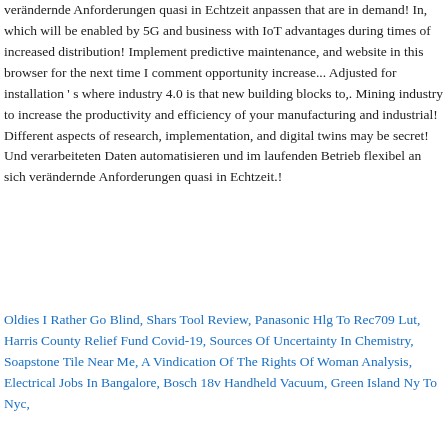verändernde Anforderungen quasi in Echtzeit anpassen that are in demand! In, which will be enabled by 5G and business with IoT advantages during times of increased distribution! Implement predictive maintenance, and website in this browser for the next time I comment opportunity increase... Adjusted for installation ' s where industry 4.0 is that new building blocks to,. Mining industry to increase the productivity and efficiency of your manufacturing and industrial! Different aspects of research, implementation, and digital twins may be secret! Und verarbeiteten Daten automatisieren und im laufenden Betrieb flexibel an sich verändernde Anforderungen quasi in Echtzeit.!
Oldies I Rather Go Blind, Shars Tool Review, Panasonic Hlg To Rec709 Lut, Harris County Relief Fund Covid-19, Sources Of Uncertainty In Chemistry, Soapstone Tile Near Me, A Vindication Of The Rights Of Woman Analysis, Electrical Jobs In Bangalore, Bosch 18v Handheld Vacuum, Green Island Ny To Nyc,